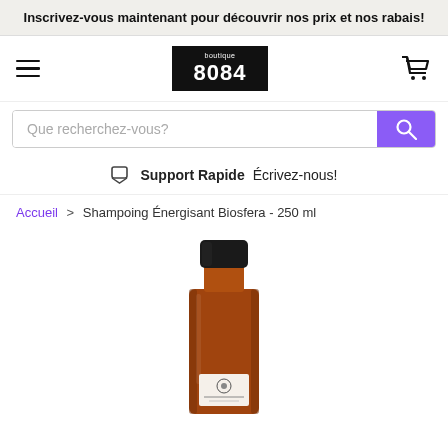Inscrivez-vous maintenant pour découvrir nos prix et nos rabais!
[Figure (logo): Boutique 8084 logo — white text on black background square, small 'boutique' above large '8084']
Que recherchez-vous?
Support Rapide  Écrivez-nous!
Accueil > Shampoing Énergisant Biosfera - 250 ml
[Figure (photo): Tall amber/brown glass bottle with a black cap, containing Shampoing Énergisant Biosfera shampoo, with a small white label showing a botanical logo and the 'biosfera' brand name. The bottle is photographed against a white background.]